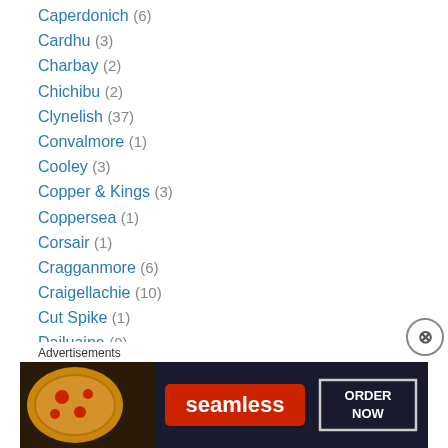Caperdonich (6)
Cardhu (3)
Charbay (2)
Chichibu (2)
Clynelish (37)
Convalmore (1)
Cooley (3)
Copper & Kings (3)
Coppersea (1)
Corsair (1)
Cragganmore (6)
Craigellachie (10)
Cut Spike (1)
Dailuaine (9)
Dallas Dhu (3)
Dalmore (3)
Dalwhinnie (2)
Advertisements
[Figure (other): Seamless food delivery advertisement banner with pizza image, Seamless logo, and ORDER NOW button]